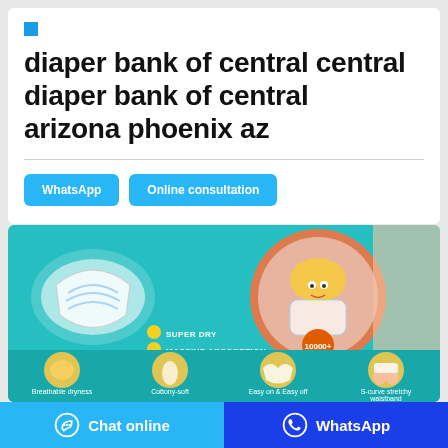diaper bank of central arizona phoenix az
WhatsApp | Online consultation
[Figure (infographic): Product advertisement banner for baby diapers with teal background. Features a diaper image, cartoon tiger mascot, and three feature callouts: SUPER DRY, MASSIVE ABSORPTION, BLANKIE SOFT. Bottom row shows four icons with labels: Breathable dryness, Cottony-soft, Easy on & Easy off, S-curve stretchy waistband. Badge shows '10000+'.]
Chat online | WhatsApp